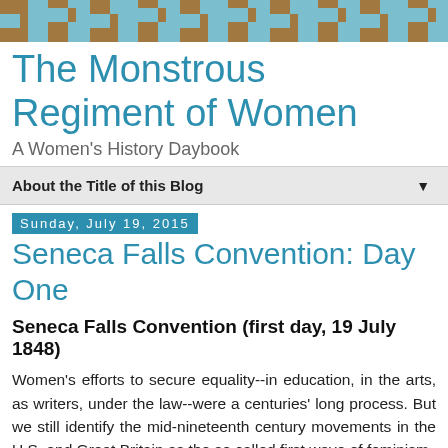[Figure (illustration): Decorative header banner with a repeating maze/greek-key pattern in teal and brown colors]
The Monstrous Regiment of Women
A Women's History Daybook
About the Title of this Blog
Sunday, July 19, 2015
Seneca Falls Convention: Day One
Seneca Falls Convention (first day, 19 July 1848)
Women's efforts to secure equality--in education, in the arts, as writers, under the law--were a centuries' long process. But we still identify the mid-nineteenth century movements in the U.S. and Great Britain as the so called first wave of feminism.